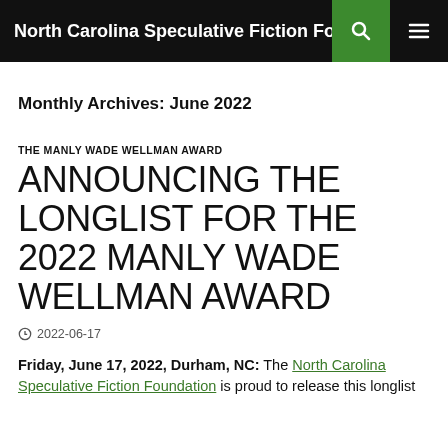North Carolina Speculative Fiction Found...
Monthly Archives: June 2022
THE MANLY WADE WELLMAN AWARD
ANNOUNCING THE LONGLIST FOR THE 2022 MANLY WADE WELLMAN AWARD
2022-06-17
Friday, June 17, 2022, Durham, NC: The North Carolina Speculative Fiction Foundation is proud to release this longlist